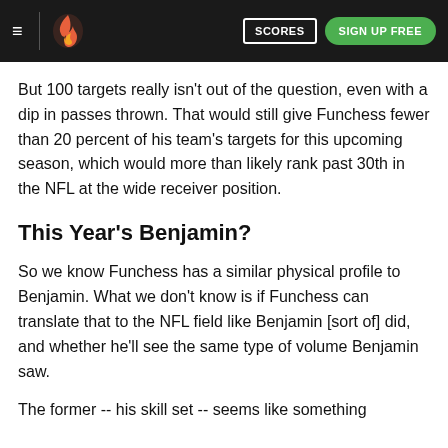≡ | [logo] SCORES SIGN UP FREE
But 100 targets really isn't out of the question, even with a dip in passes thrown. That would still give Funchess fewer than 20 percent of his team's targets for this upcoming season, which would more than likely rank past 30th in the NFL at the wide receiver position.
This Year's Benjamin?
So we know Funchess has a similar physical profile to Benjamin. What we don't know is if Funchess can translate that to the NFL field like Benjamin [sort of] did, and whether he'll see the same type of volume Benjamin saw.
The former -- his skill set -- seems like something